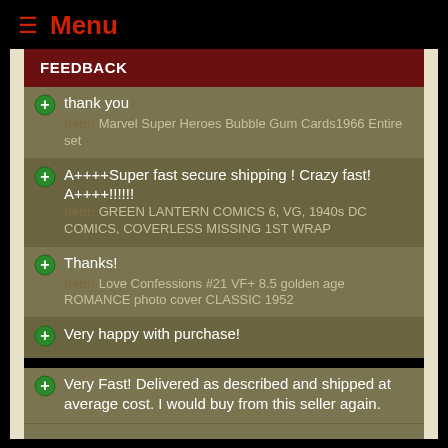≡ Menu
FEEDBACK
thank you
Item: Marvel Super Heroes Bubble Gum Cards1966 Entire set
A++++Super fast secure shipping ! Crazy fast! A++++!!!!!!
Item: GREEN LANTERN COMICS 6, VG, 1940s DC COMICS, COVERLESS MISSING 1ST WRAP
Thanks!
Item: Love Confessions #21 VF+ 8.5 golden age ROMANCE photo cover CLASSIC 1952
Very happy with purchase!
Very Fast! Delivered as described and shipped at average cost. I would buy from this seller again.